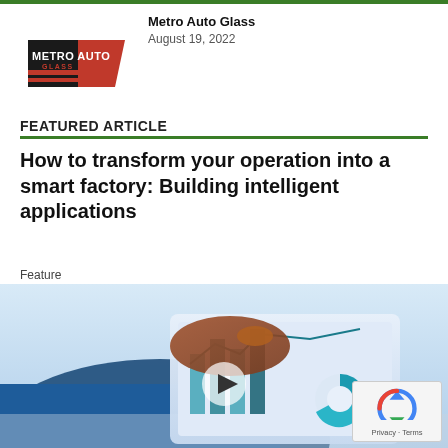[Figure (logo): Metro Auto Glass logo with red and dark text on white background]
Metro Auto Glass
August 19, 2022
FEATURED ARTICLE
How to transform your operation into a smart factory: Building intelligent applications
Feature
[Figure (photo): Person touching a tablet displaying charts and graphs, with blue tones. A video play button overlay is visible in the center.]